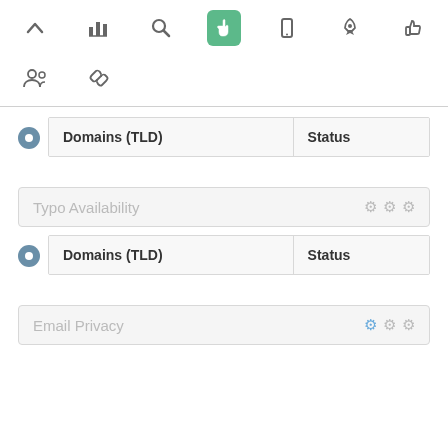[Figure (screenshot): Top navigation toolbar with icons: caret up, bar chart, search, hand pointer (active/green), mobile, rocket, thumbs up, group, chain link]
| Domains (TLD) | Status |
| --- | --- |
[Figure (screenshot): Section panel labeled 'Typo Availability' with three gear icons on right]
| Domains (TLD) | Status |
| --- | --- |
[Figure (screenshot): Section panel labeled 'Email Privacy' with three gear icons, first one blue]